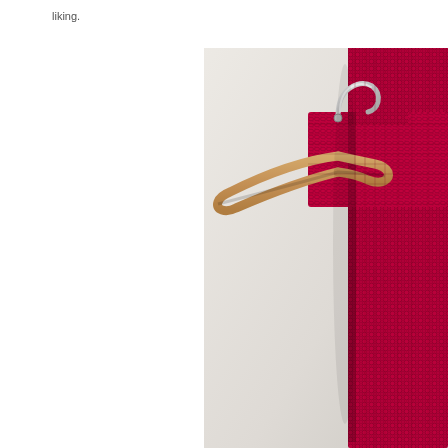liking.
[Figure (photo): A red/crimson crocheted scarf draped over a wooden clothes hanger, hanging against a light beige/white wall. The hanger has a metal hook at the top. The scarf shows a textured crochet pattern in a deep magenta/raspberry color.]